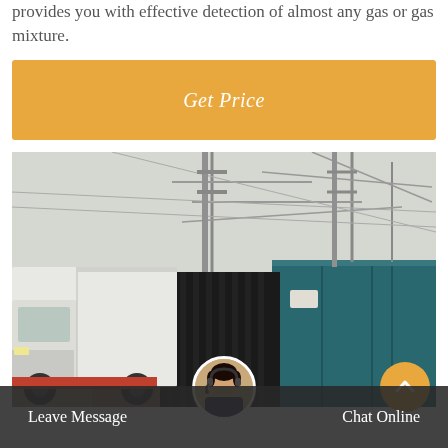provides you with effective detection of almost any gas or gas mixture.
Get Price
[Figure (photo): A white delivery truck parked near an industrial electrical substation with blue corrugated metal fence panels, overhead electrical cables and transmission infrastructure visible in the background.]
Leave Message   Chat Online